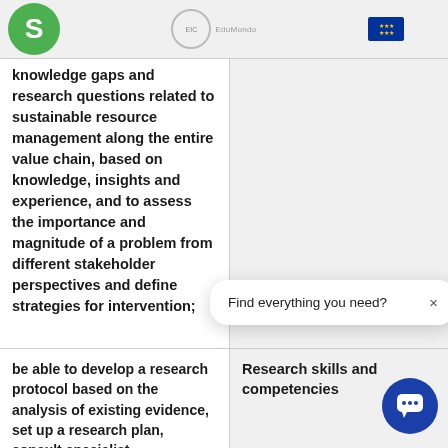S [logo] | [EIC logo] EduMondo | [EU flag]
knowledge gaps and research questions related to sustainable resource management along the entire value chain, based on knowledge, insights and experience, and to assess the importance and magnitude of a problem from different stakeholder perspectives and define strategies for intervention;
be able to develop a research protocol based on the analysis of existing evidence, set up a research plan, consult specialist
Research skills and competencies